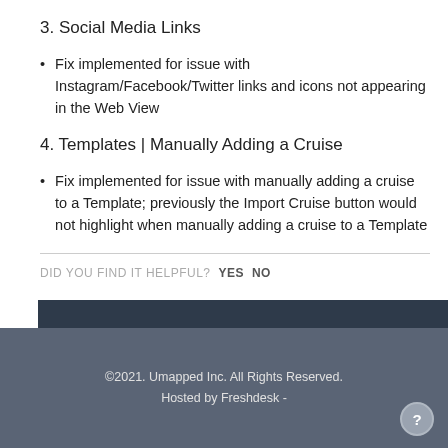3. Social Media Links
Fix implemented for issue with Instagram/Facebook/Twitter links and icons not appearing in the Web View
4. Templates | Manually Adding a Cruise
Fix implemented for issue with manually adding a cruise to a Template; previously the Import Cruise button would not highlight when manually adding a cruise to a Template
DID YOU FIND IT HELPFUL?  YES  NO
©2021. Umapped Inc. All Rights Reserved.
Hosted by Freshdesk  -